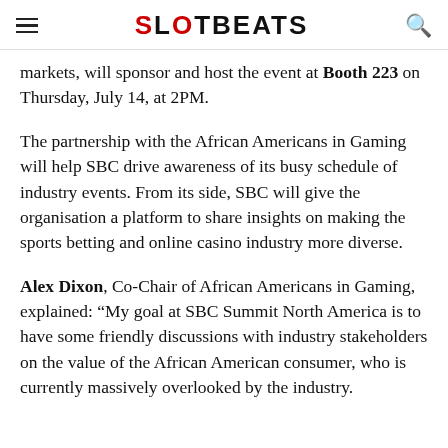SLOTBEATS
markets, will sponsor and host the event at Booth 223 on Thursday, July 14, at 2PM.
The partnership with the African Americans in Gaming will help SBC drive awareness of its busy schedule of industry events. From its side, SBC will give the organisation a platform to share insights on making the sports betting and online casino industry more diverse.
Alex Dixon, Co-Chair of African Americans in Gaming, explained: “My goal at SBC Summit North America is to have some friendly discussions with industry stakeholders on the value of the African American consumer, who is currently massively overlooked by the industry.